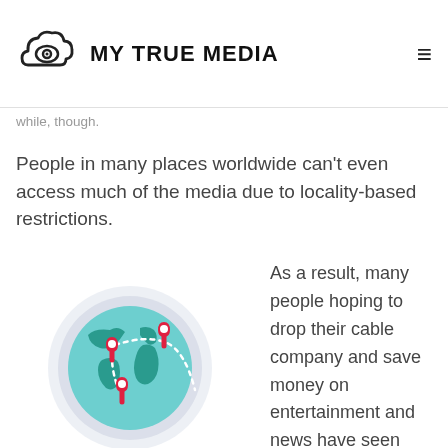MY TRUE MEDIA
the Amazon Prime 30-day free trial ‹ is a great ... tons of completely free entertainment for a while, though.
People in many places worldwide can't even access much of the media due to locality-based restrictions.
[Figure (illustration): Globe illustration with three red location pin markers connected by a white dotted path, surrounded by soft blue-grey concentric rings]
As a result, many people hoping to drop their cable company and save money on entertainment and news have seen